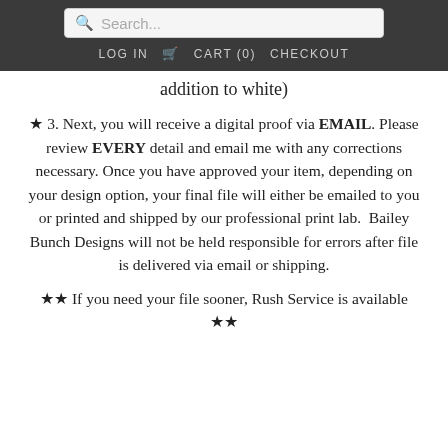Search... LOG IN  CART (0)  CHECKOUT
addition to white)
★ 3. Next, you will receive a digital proof via EMAIL. Please review EVERY detail and email me with any corrections necessary. Once you have approved your item, depending on your design option, your final file will either be emailed to you or printed and shipped by our professional print lab.  Bailey Bunch Designs will not be held responsible for errors after file is delivered via email or shipping.
★★ If you need your file sooner, Rush Service is available ★★